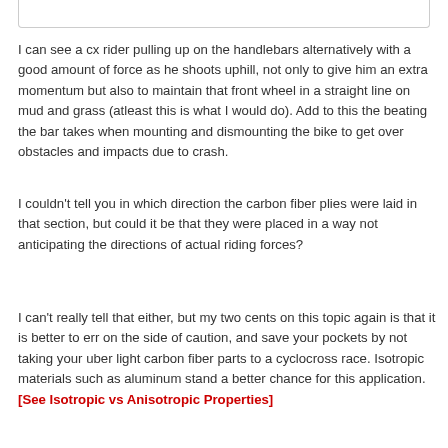[Figure (photo): Bottom edge of an image box showing a cycling/cyclocross related photo (partially cropped)]
I can see a cx rider pulling up on the handlebars alternatively with a good amount of force as he shoots uphill, not only to give him an extra momentum but also to maintain that front wheel in a straight line on mud and grass (atleast this is what I would do). Add to this the beating the bar takes when mounting and dismounting the bike to get over obstacles and impacts due to crash.
I couldn't tell you in which direction the carbon fiber plies were laid in that section, but could it be that they were placed in a way not anticipating the directions of actual riding forces?
I can't really tell that either, but my two cents on this topic again is that it is better to err on the side of caution, and save your pockets by not taking your uber light carbon fiber parts to a cyclocross race. Isotropic materials such as aluminum stand a better chance for this application. [See Isotropic vs Anisotropic Properties]